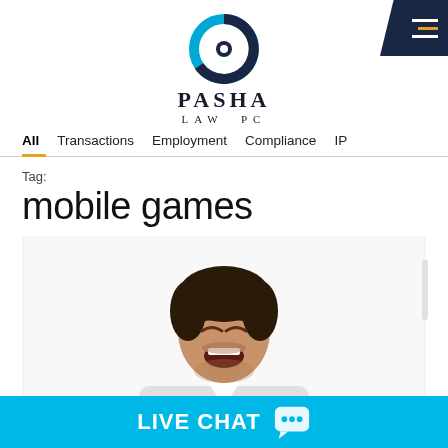[Figure (logo): Pasha Law PC logo — circular icon with blue and dark navy ring, text PASHA LAW PC below in serif font]
Navigation menu: All | Transactions | Employment | Compliance | IP
Tag:
mobile games
[Figure (photo): Man in white shirt leaning forward with mouth open as if frustrated or yelling, eyes closed, dark hair, on white background]
LIVE CHAT